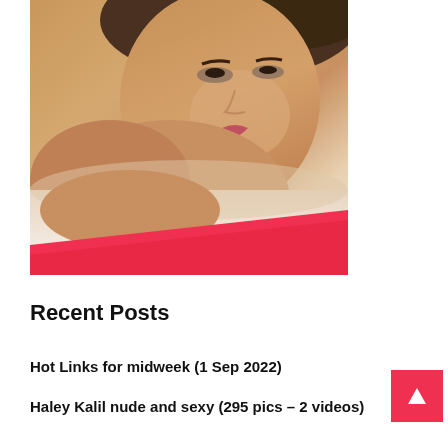[Figure (photo): A woman lying down on white sheets, looking at the camera, with a warm skin tone and dark hair. The lower portion of the image has a diagonal red/pink banner overlapping it.]
Recent Posts
Hot Links for midweek (1 Sep 2022)
Haley Kalil nude and sexy (295 pics – 2 videos)